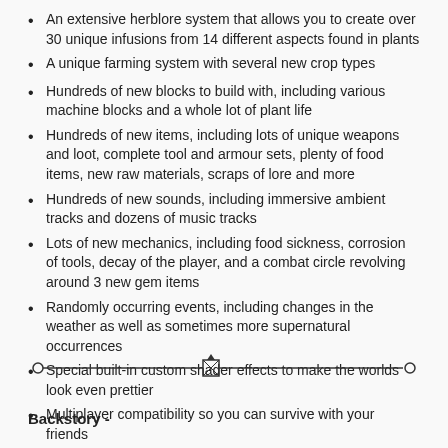An extensive herblore system that allows you to create over 30 unique infusions from 14 different aspects found in plants
A unique farming system with several new crop types
Hundreds of new blocks to build with, including various machine blocks and a whole lot of plant life
Hundreds of new items, including lots of unique weapons and loot, complete tool and armour sets, plenty of food items, new raw materials, scraps of lore and more
Hundreds of new sounds, including immersive ambient tracks and dozens of music tracks
Lots of new mechanics, including food sickness, corrosion of tools, decay of the player, and a combat circle revolving around 3 new gem items
Randomly occurring events, including changes in the weather as well as sometimes more supernatural occurrences
Special built-in custom shader effects to make the worlds look even prettier
Multiplayer compatibility so you can survive with your friends
...and much, more more!
[Figure (illustration): Decorative horizontal divider with ornamental ends and a small icon in the center]
Backstory -